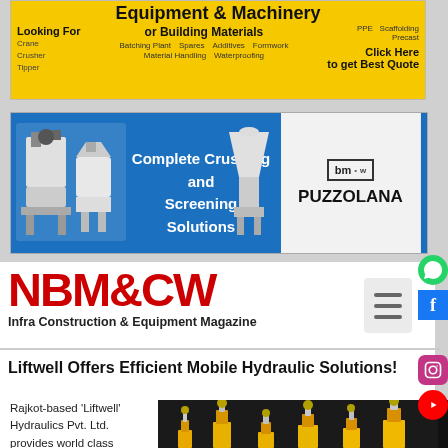[Figure (infographic): Yellow banner advertisement for Equipment & Machinery or Building Materials with keyword tags and 'Click Here to get Best Quote' CTA]
[Figure (infographic): Blue banner advertisement for Puzzolana showing Complete Crushing and Screening Solutions with machinery images and Puzzolana logo]
[Figure (logo): NBM&CW - Infra Construction & Equipment Magazine logo in red bold text]
Liftwell Offers Efficient Mobile Hydraulic Solutions!
Rajkot-based 'Liftwell' Hydraulics Pvt. Ltd. provides world class hydraulic cylinders for various segments